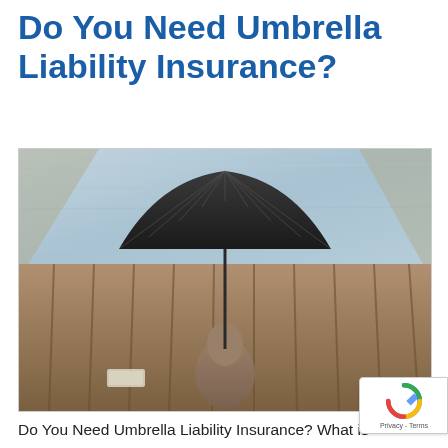Do You Need Umbrella Liability Insurance?
[Figure (photo): Person sitting on a wooden dock holding a dark umbrella, with water visible in the background.]
Do You Need Umbrella Liability Insurance? What is Umbrella Liability Insurance? Do you need it? What are the benefits? There are many questions to take into account when weighing your coverage options. Umbrella Liability Insurance provides an extra layer of security that you consider in your coverage. Read below to learn more...